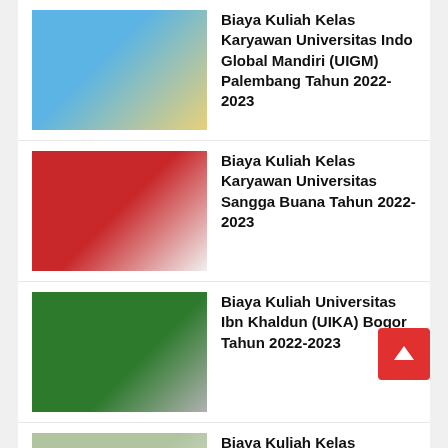Biaya Kuliah Kelas Karyawan Universitas Indo Global Mandiri (UIGM) Palembang Tahun 2022-2023
Biaya Kuliah Kelas Karyawan Universitas Sangga Buana Tahun 2022-2023
Biaya Kuliah Universitas Ibn Khaldun (UIKA) Bogor Tahun 2022-2023
Biaya Kuliah Kelas Karyawan Universitas Pembangunan Panca Budi (UNPAB) Medan Tahun 2022-2023
Biaya Kuliah Kelas Karyawan STIE BANK BPD JATENG Tahun 2022-2023
Biaya Kuliah Kelas Karyawan